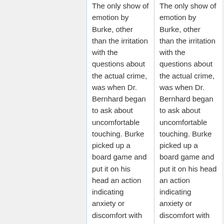The only show of emotion by Burke, other than the irritation with the questions about the actual crime, was when Dr. Bernhard began to ask about uncomfortable touching. Burke picked up a board game and put it on his head an action indicating anxiety or discomfort with these types of questions and that there was more that he was not telling her.
The only show of emotion by Burke, other than the irritation with the questions about the actual crime, was when Dr. Bernhard began to ask about uncomfortable touching. Burke picked up a board game and put it on his head an action indicating anxiety or discomfort with these types of questions and that there was more that he was not telling her.